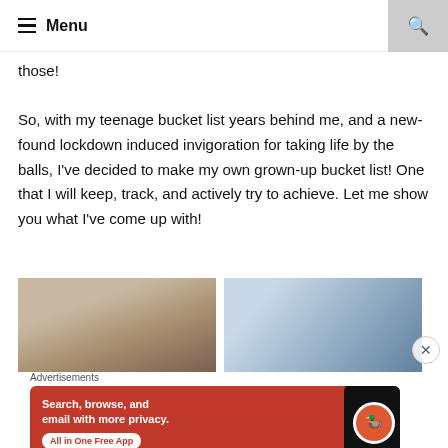Menu
those!
So, with my teenage bucket list years behind me, and a new-found lockdown induced invigoration for taking life by the balls, I've decided to make my own grown-up bucket list! One that I will keep, track, and actively try to achieve. Let me show you what I've come up with!
[Figure (photo): Partial photo of a person with dark hair, cropped at top of head]
[Figure (photo): Photo showing a mountain or snowy peak from above]
[Figure (screenshot): DuckDuckGo advertisement: Search, browse, and email with more privacy. All in One Free App]